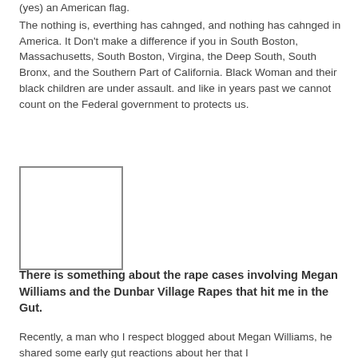(yes) an American flag.
The nothing is, everthing has cahnged, and nothing has cahnged in America. It Don't make a difference if you in South Boston, Massachusetts, South Boston, Virgina, the Deep South, South Bronx, and the Southern Part of California. Black Woman and their black children are under assault. and like in years past we cannot count on the Federal government to protects us.
[Figure (other): A blank/white rectangular image placeholder with a visible border outline.]
There is something about the rape cases involving Megan Williams and the Dunbar Village Rapes that hit me in the Gut.
Recently, a man who I respect blogged about Megan Williams, he shared some early gut reactions about her that I